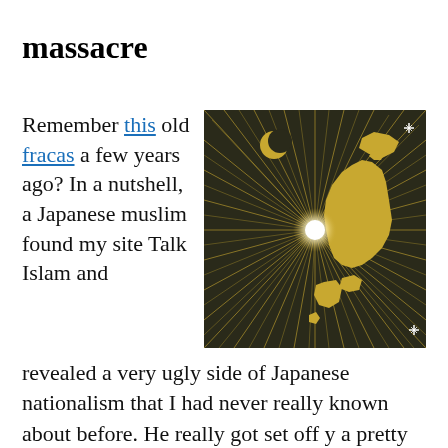massacre
Remember this old fracas a few years ago? In a nutshell, a Japanese muslim found my site Talk Islam and revealed a very ugly side of Japanese nationalism that I had never really known about before. He really got set off y a pretty
[Figure (illustration): Dark background illustration showing a golden map silhouette of Japan with radiating golden light rays emanating from a bright white central point, and a crescent moon in the upper area.]